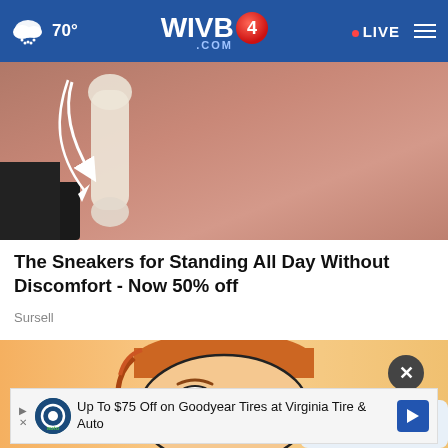70° WIVB4 .COM  LIVE
[Figure (photo): Close-up image of skin/body area with a white arrow and bone-like shape, used as advertisement thumbnail for sneaker product]
The Sneakers for Standing All Day Without Discomfort - Now 50% off
Sursell
[Figure (illustration): Cartoon-style illustration of a person's face with orange/brown hair, used as advertisement thumbnail]
[Figure (infographic): Bottom banner advertisement: Up To $75 Off on Goodyear Tires at Virginia Tire & Auto, with Tires Plus Auto logo and blue arrow icon]